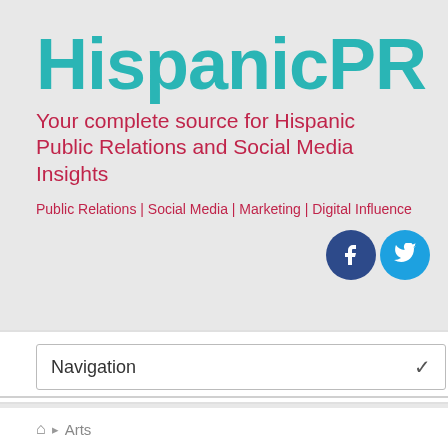HispanicPR
Your complete source for Hispanic Public Relations and Social Media Insights
Public Relations | Social Media | Marketing | Digital Influencers | Hispanic Re
[Figure (illustration): Facebook and Twitter social media icons — circular icons in dark blue and light blue respectively]
Navigation
Arts
Salsa sensation Frankie Negrón to headline